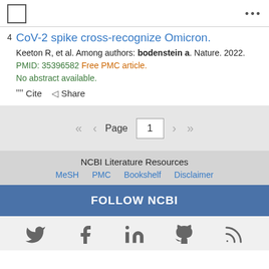CoV-2 spike cross-recognize Omicron.
Keeton R, et al. Among authors: bodenstein a. Nature. 2022. PMID: 35396582 Free PMC article.
No abstract available.
Cite  Share
Page 1
NCBI Literature Resources
MeSH  PMC  Bookshelf  Disclaimer
FOLLOW NCBI